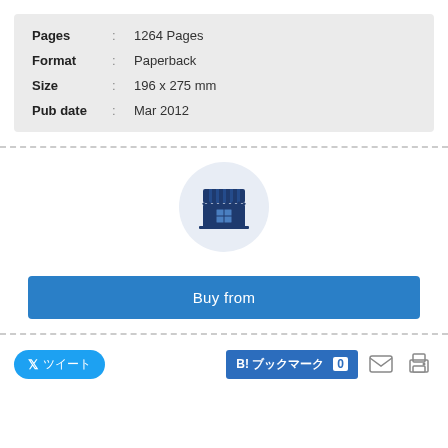| Pages | : | 1264 Pages |
| Format | : | Paperback |
| Size | : | 196 x 275 mm |
| Pub date | : | Mar 2012 |
[Figure (illustration): A store/shop icon (dark blue awning with stripes and a storefront window) inside a light grey circle]
Buy from
ツイート  B! ブックマーク 0